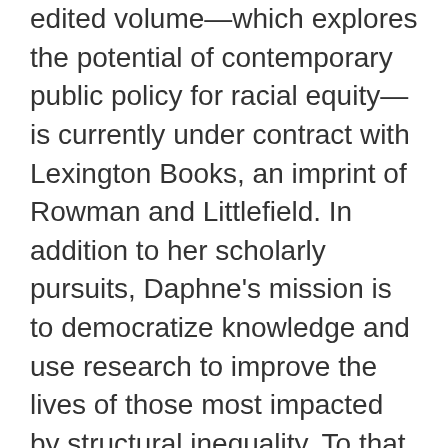edited volume—which explores the potential of contemporary public policy for racial equity—is currently under contract with Lexington Books, an imprint of Rowman and Littlefield. In addition to her scholarly pursuits, Daphne's mission is to democratize knowledge and use research to improve the lives of those most impacted by structural inequality. To that end, Daphne is the founder of The Ebony Tower, an online community created to help academics of color thrive in the ivory tower. She is also